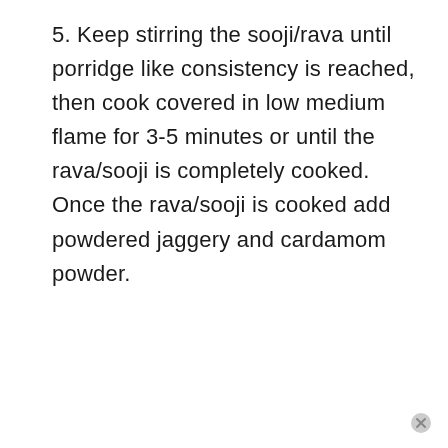5. Keep stirring the sooji/rava until porridge like consistency is reached, then cook covered in low medium flame for 3-5 minutes or until the rava/sooji is completely cooked. Once the rava/sooji is cooked add powdered jaggery and cardamom powder.